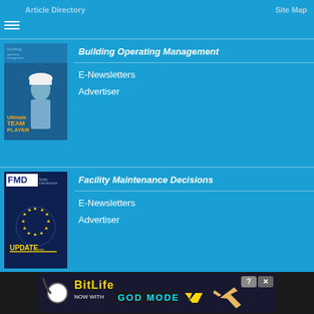Article Directory  Site Map
Building Operating Management
E-Newsletters
Advertiser
[Figure (photo): Building Operating Management magazine cover showing a person in a hard hat]
Facility Maintenance Decisions
E-Newsletters
Advertiser
[Figure (photo): Facility Maintenance Decisions (FMD) magazine cover with star graphic and UPDATE text]
Facilities Management Web Sites:
Healthcare Facilities Today |  myFacilitiesNet | NFMT - Facilities Education and Conference
©1995-2022 TradePress - B2B Media Company
[Figure (screenshot): BitLife advertisement banner - NOW WITH GOD MODE]